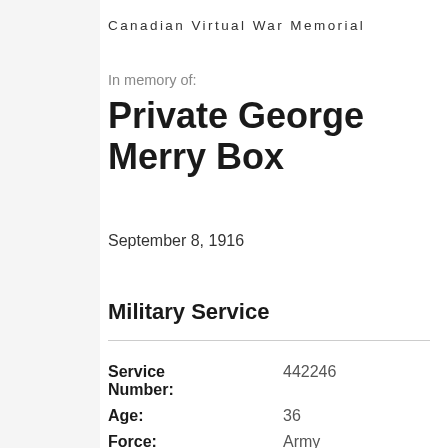Canadian Virtual War Memorial
In memory of:
Private George Merry Box
September 8, 1916
Military Service
| Field | Value |
| --- | --- |
| Service Number: | 442246 |
| Age: | 36 |
| Force: | Army |